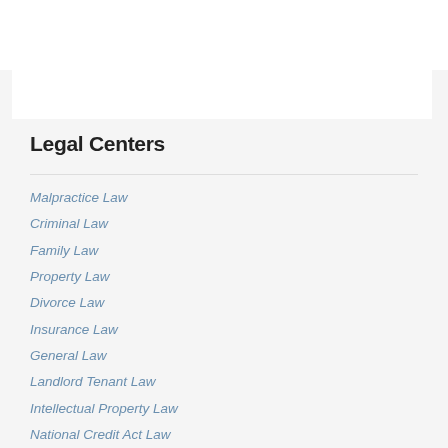Legal Centers
Malpractice Law
Criminal Law
Family Law
Property Law
Divorce Law
Insurance Law
General Law
Landlord Tenant Law
Intellectual Property Law
National Credit Act Law
Consumer Protection Law
Immigration Law